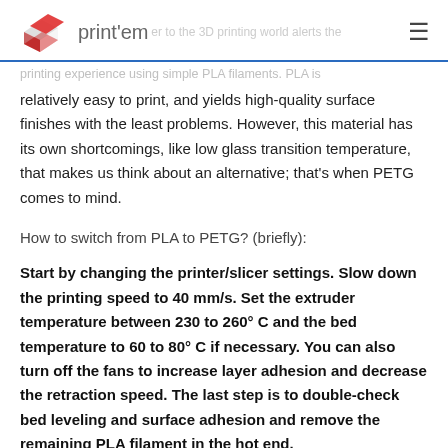3D print'em
relatively easy to print, and yields high-quality surface finishes with the least problems. However, this material has its own shortcomings, like low glass transition temperature, that makes us think about an alternative; that's when PETG comes to mind.
How to switch from PLA to PETG? (briefly):
Start by changing the printer/slicer settings. Slow down the printing speed to 40 mm/s. Set the extruder temperature between 230 to 260° C and the bed temperature to 60 to 80° C if necessary. You can also turn off the fans to increase layer adhesion and decrease the retraction speed. The last step is to double-check bed leveling and surface adhesion and remove the remaining PLA filament in the hot end.